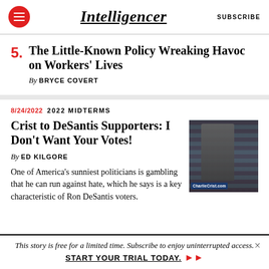Intelligencer   SUBSCRIBE
5. The Little-Known Policy Wreaking Havoc on Workers' Lives — By BRYCE COVERT
8/24/2022  2022 MIDTERMS
Crist to DeSantis Supporters: I Don't Want Your Votes!
By ED KILGORE
One of America's sunniest politicians is gambling that he can run against hate, which he says is a key characteristic of Ron DeSantis voters.
[Figure (photo): Photo of Charlie Crist at a podium with an American flag backdrop and a CharlieChrist.com sign]
This story is free for a limited time. Subscribe to enjoy uninterrupted access.   START YOUR TRIAL TODAY. ➜➜